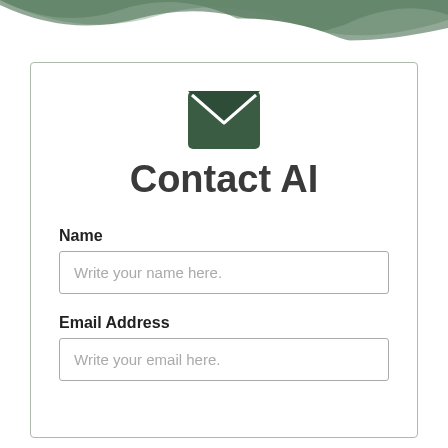[Figure (illustration): Wavy decorative header band in muted green/teal tones at the top of the page]
[Figure (illustration): Dark green envelope icon centered above the title]
Contact AI
Name
Write your name here.
Email Address
Write your email here.